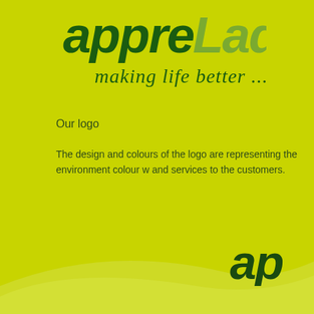[Figure (logo): appleLady logo with italic bold dark green text 'appre' and lighter 'Lady' and cursive tagline 'making life better ...' on yellow-green background]
Our logo
The design and colours of the logo are representing the environment colour w and services to the customers.
[Figure (logo): Partial 'ap' text in dark green italic bold at bottom right corner, with white wave decoration]